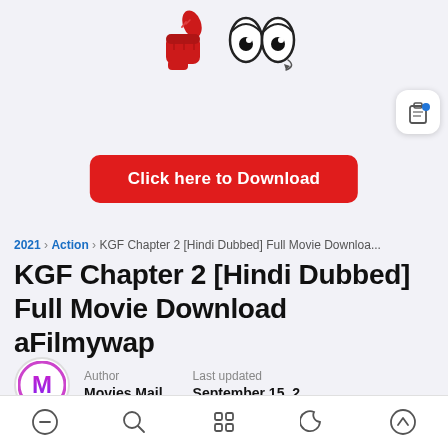[Figure (illustration): Thumbs up emoji and cartoon eyes emoji icons at the top center of the page]
[Figure (screenshot): Clipboard/document icon button in top right corner with blue notification dot]
Click here to Download
2021 › Action › KGF Chapter 2 [Hindi Dubbed] Full Movie Downloa...
KGF Chapter 2 [Hindi Dubbed] Full Movie Download aFilmywap
[Figure (logo): Movies Mail circular logo with M letter in magenta/purple gradient]
Author
Movies Mail
Last updated
September 15, 2...
28 minute read ★
[Figure (illustration): Bottom navigation bar with home, search, grid, moon, and up-arrow icons]